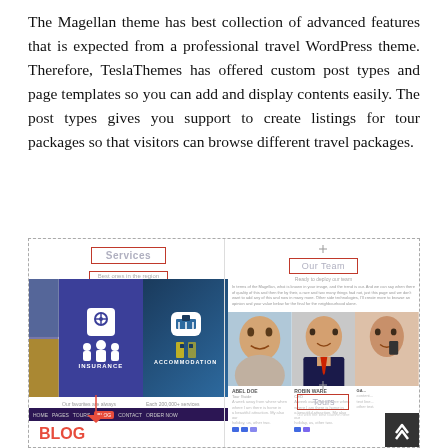The Magellan theme has best collection of advanced features that is expected from a professional travel WordPress theme. Therefore, TeslaThemes has offered custom post types and page templates so you can add and display contents easily. The post types gives you support to create listings for tour packages so that visitors can browse different travel packages.
[Figure (screenshot): Screenshot of a WordPress travel theme (Magellan) showing Services section with Insurance and Accommodation cards, an Our Team section with team member photos, a Blog section with red heading, navigation bar, and a Tours section.]